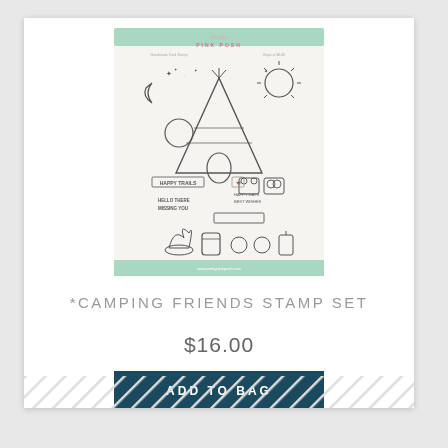[Figure (photo): Product image of the Camping Friends Stamp Set by Pretty Pink Posh showing outlined camping-themed stamps including a teepee, moon, sun, stars, bear, owl, campfire, and sentiment text on a mint green bordered card.]
*CAMPING FRIENDS STAMP SET
$16.00
ADD TO BAG